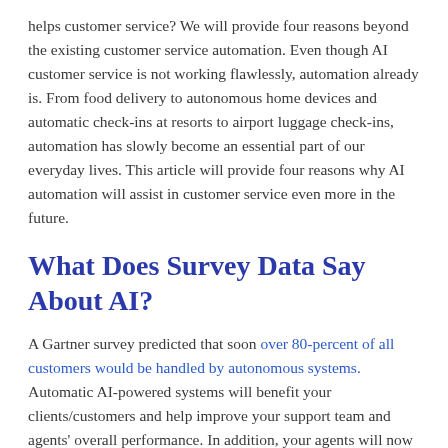helps customer service? We will provide four reasons beyond the existing customer service automation. Even though AI customer service is not working flawlessly, automation already is. From food delivery to autonomous home devices and automatic check-ins at resorts to airport luggage check-ins, automation has slowly become an essential part of our everyday lives. This article will provide four reasons why AI automation will assist in customer service even more in the future.
What Does Survey Data Say About AI?
A Gartner survey predicted that soon over 80-percent of all customers would be handled by autonomous systems. Automatic AI-powered systems will benefit your clients/customers and help improve your support team and agents' overall performance. In addition, your agents will now be able to save both effort and time. For instance, by letting virtual assistants go through rigorous information searches, they do not